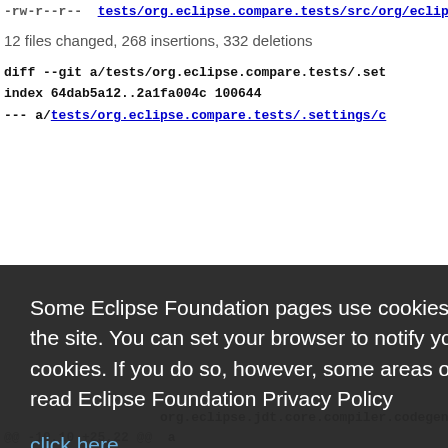-rw-r--r--  tests/org.eclipse.compare.tests/src/org/eclipse/compare/
12 files changed, 268 insertions, 332 deletions
diff --git a/tests/org.eclipse.compare.tests/.set
index 64dab5a12..2a1fa004c 100644
--- a/tests/org.eclipse.compare.tests/.settings/c
.settings/c
ilder.res
error
nPatterns
OutputLo
n.inheri
n.missing
n.nonnul
n.nonnul
n.nonnul
n.nonnul
n.nullab
n.nullab
n.nullana
nlineJsrF
ethodPara
Some Eclipse Foundation pages use cookies to better serve you when you return to the site. You can set your browser to notify you before you receive a cookie or turn off cookies. If you do so, however, some areas of some sites may not function properly. To read Eclipse Foundation Privacy Policy
click here.
Decline
Allow cookies
org.eclipse.jdt.core.compiler.codegen.targetPla
@@ -10,10 +25,22 @@  <line with...